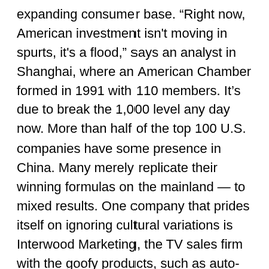expanding consumer base. “Right now, American investment isn't moving in spurts, it's a flood,” says an analyst in Shanghai, where an American Chamber formed in 1991 with 110 members. It’s due to break the 1,000 level any day now. More than half of the top 100 U.S. companies have some presence in China. Many merely replicate their winning formulas on the mainland — to mixed results. One company that prides itself on ignoring cultural variations is Interwood Marketing, the TV sales firm with the goofy products, such as auto-massage beds, miracle stain removers and instant button-repair devices. Interwood, which is actually based in Toronto, uses the same commercials the world over: loud voice-overs shouting the attributes of